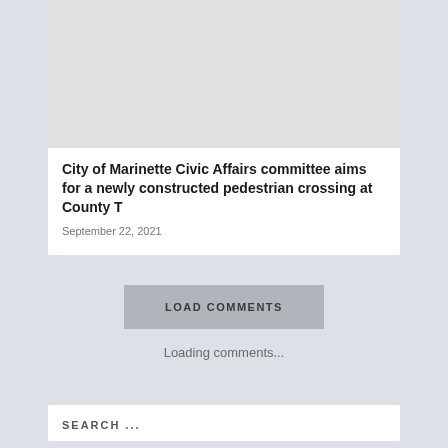[Figure (photo): Gray placeholder image at top of article card]
City of Marinette Civic Affairs committee aims for a newly constructed pedestrian crossing at County T
September 22, 2021
LOAD COMMENTS
Loading comments...
SEARCH ...